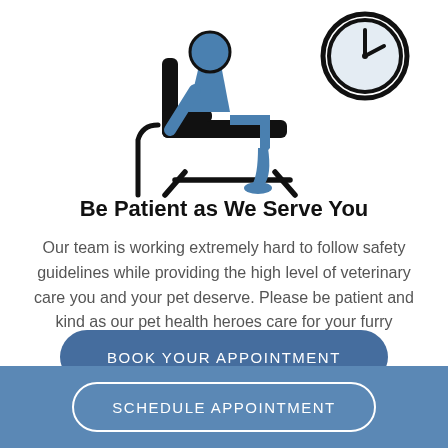[Figure (illustration): A person sitting in a waiting chair holding a cane, with a clock icon in the upper right corner. The figure uses blue fill colors with black outlines.]
Be Patient as We Serve You
Our team is working extremely hard to follow safety guidelines while providing the high level of veterinary care you and your pet deserve. Please be patient and kind as our pet health heroes care for your furry friends.
BOOK YOUR APPOINTMENT
SCHEDULE APPOINTMENT